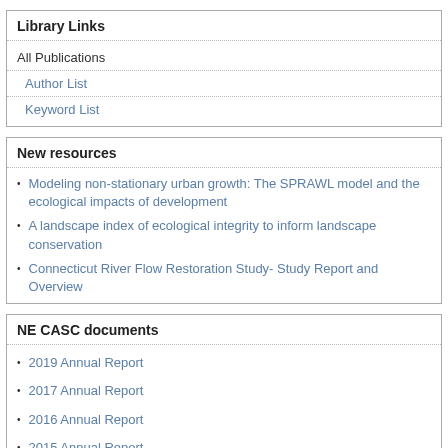Library Links
All Publications
Author List
Keyword List
New resources
Modeling non-stationary urban growth: The SPRAWL model and the ecological impacts of development
A landscape index of ecological integrity to inform landscape conservation
Connecticut River Flow Restoration Study- Study Report and Overview
NE CASC documents
2019 Annual Report
2017 Annual Report
2016 Annual Report
2015 Annual Report